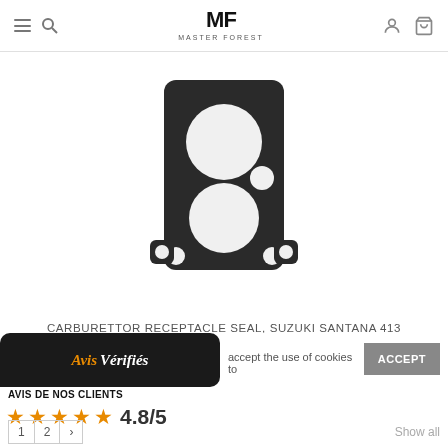Master Forest navigation header with logo, hamburger menu, search, user, and cart icons
[Figure (photo): Carburettor receptacle seal / gasket for Suzuki Santana 413 - black rubber/fibre gasket with two large circular cutouts and mounting holes, photographed on white background]
CARBURETTOR RECEPTACLE SEAL, SUZUKI SANTANA 413
3,33 €
ADD TO CART
[Figure (logo): Avis Vérifiés badge - dark background with orange italic 'Avis' and white italic 'Vérifiés' text]
accept the use of cookies to
ACCEPT
AVIS DE NOS CLIENTS
★★★★★ 4.8/5
1  2  >  Show all